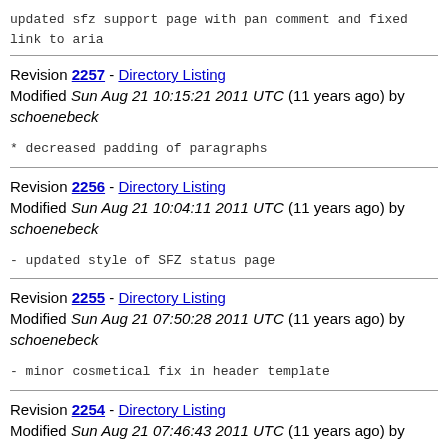updated sfz support page with pan comment and fixed link to aria
Revision 2257 - Directory Listing
Modified Sun Aug 21 10:15:21 2011 UTC (11 years ago) by schoenebeck
* decreased padding of paragraphs
Revision 2256 - Directory Listing
Modified Sun Aug 21 10:04:11 2011 UTC (11 years ago) by schoenebeck
- updated style of SFZ status page
Revision 2255 - Directory Listing
Modified Sun Aug 21 07:50:28 2011 UTC (11 years ago) by schoenebeck
- minor cosmetical fix in header template
Revision 2254 - Directory Listing
Modified Sun Aug 21 07:46:43 2011 UTC (11 years ago) by